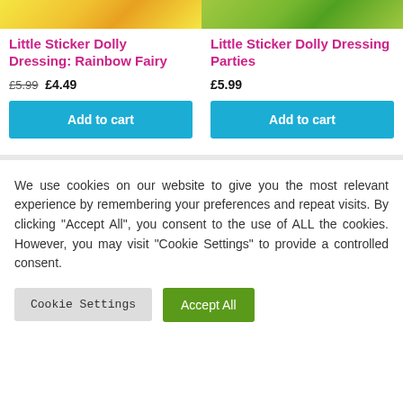[Figure (photo): Product image for Little Sticker Dolly Dressing: Rainbow Fairy, showing colorful yellow/orange illustration]
Little Sticker Dolly Dressing: Rainbow Fairy
£5.99 £4.49
Add to cart
[Figure (photo): Product image for Little Sticker Dolly Dressing Parties, showing colorful green illustration]
Little Sticker Dolly Dressing Parties
£5.99
Add to cart
We use cookies on our website to give you the most relevant experience by remembering your preferences and repeat visits. By clicking "Accept All", you consent to the use of ALL the cookies. However, you may visit "Cookie Settings" to provide a controlled consent.
Cookie Settings
Accept All